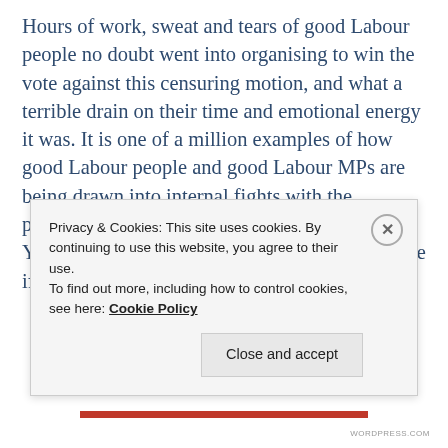Hours of work, sweat and tears of good Labour people no doubt went into organising to win the vote against this censuring motion, and what a terrible drain on their time and emotional energy it was. It is one of a million examples of how good Labour people and good Labour MPs are being drawn into internal fights with the pernicious hard left who now dominate Labour. Yes, the vote was won, but at what cost? Imagine if we didn't
Privacy & Cookies: This site uses cookies. By continuing to use this website, you agree to their use.
To find out more, including how to control cookies, see here: Cookie Policy
Close and accept